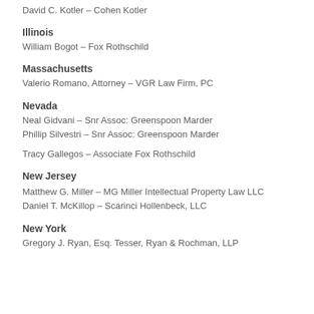David C. Kotler – Cohen Kotler
Illinois
William Bogot – Fox Rothschild
Massachusetts
Valerio Romano, Attorney – VGR Law Firm, PC
Nevada
Neal Gidvani – Snr Assoc: Greenspoon Marder
Phillip Silvestri – Snr Assoc: Greenspoon Marder
Tracy Gallegos – Associate Fox Rothschild
New Jersey
Matthew G. Miller – MG Miller Intellectual Property Law LLC
Daniel T. McKillop – Scarinci Hollenbeck, LLC
New York
Gregory J. Ryan, Esq. Tesser, Ryan & Rochman, LLP